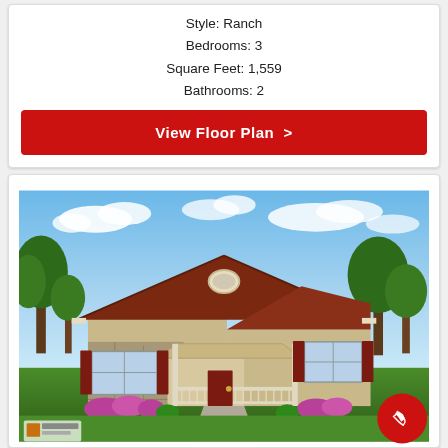Style: Ranch
Bedrooms: 3
Square Feet: 1,559
Bathrooms: 2
View Floor Plan  >
[Figure (photo): Exterior rendering of a ranch-style home with stone and tan siding, dark red roof, covered front porch with white railings, dark red shutters, green landscaping, pink flowers, and blue sky with clouds. A phone call button icon appears in the bottom-right corner.]